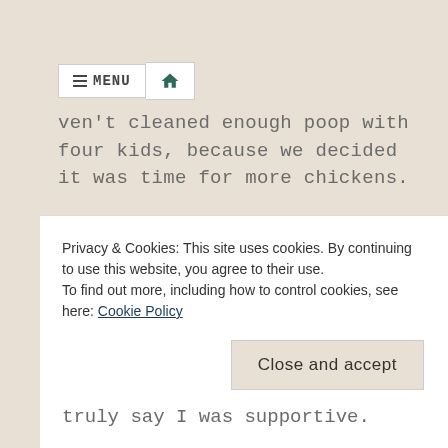MENU [home icon]
haven't cleaned enough poop with four kids, because we decided it was time for more chickens.
Fifteen to be exact.
Yes, we purchased (willingly) 15 more things that eat, drink and poop like crazy and I'm starting to question my sanity.
I think this farm thing has gotten a little out of
Privacy & Cookies: This site uses cookies. By continuing to use this website, you agree to their use.
To find out more, including how to control cookies, see here: Cookie Policy
Close and accept
truly say I was supportive.